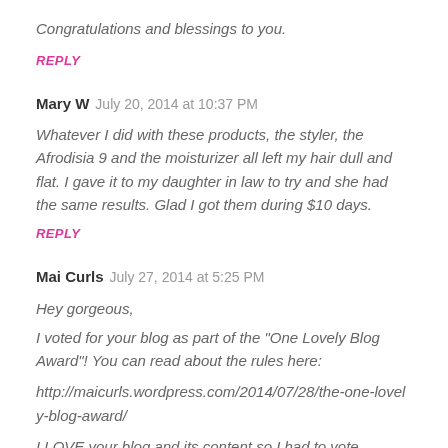Congratulations and blessings to you.
REPLY
Mary W   July 20, 2014 at 10:37 PM
Whatever I did with these products, the styler, the Afrodisia 9 and the moisturizer all left my hair dull and flat. I gave it to my daughter in law to try and she had the same results. Glad I got them during $10 days.
REPLY
Mai Curls   July 27, 2014 at 5:25 PM
Hey gorgeous,
I voted for your blog as part of the "One Lovely Blog Award"! You can read about the rules here:
http://maicurls.wordpress.com/2014/07/28/the-one-lovely-blog-award/
I LOVE your blog and its content so I had to vote